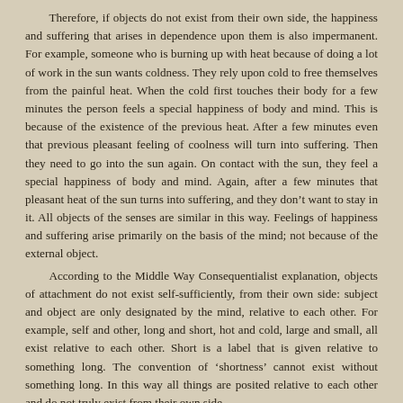Therefore, if objects do not exist from their own side, the happiness and suffering that arises in dependence upon them is also impermanent. For example, someone who is burning up with heat because of doing a lot of work in the sun wants coldness. They rely upon cold to free themselves from the painful heat. When the cold first touches their body for a few minutes the person feels a special happiness of body and mind. This is because of the existence of the previous heat. After a few minutes even that previous pleasant feeling of coolness will turn into suffering. Then they need to go into the sun again. On contact with the sun, they feel a special happiness of body and mind. Again, after a few minutes that pleasant heat of the sun turns into suffering, and they don't want to stay in it. All objects of the senses are similar in this way. Feelings of happiness and suffering arise primarily on the basis of the mind; not because of the external object.
According to the Middle Way Consequentialist explanation, objects of attachment do not exist self-sufficiently, from their own side: subject and object are only designated by the mind, relative to each other. For example, self and other, long and short, hot and cold, large and small, all exist relative to each other. Short is a label that is given relative to something long. The convention of ‘shortness’ cannot exist without something long. In this way all things are posited relative to each other and do not truly exist from their own side.
If happiness and suffering existed externally, no matter how long you stayed in the sun it would just get more and more pleasant. It’s not like that. The present pleasant feeling itself becomes unpleasant. The objects of pleasure and displeasure do not exist from their own side.